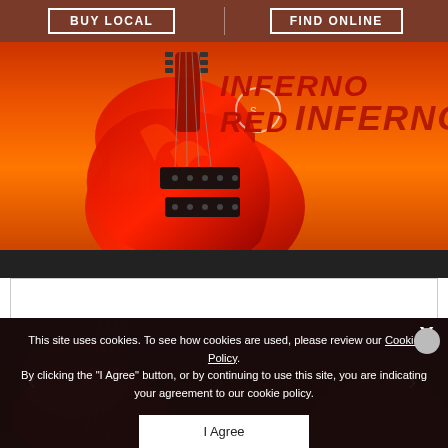BUY LOCAL
FIND ONLINE
INFERNO RED
[Figure (photo): Red electric bass guitar on orange background]
[Figure (photo): Dark section with partial view of red guitar body]
This site uses cookies. To see how cookies are used, please review our Cookie Policy. By clicking the "I Agree" button, or by continuing to use this site, you are indicating your agreement to our cookie policy.
I Agree